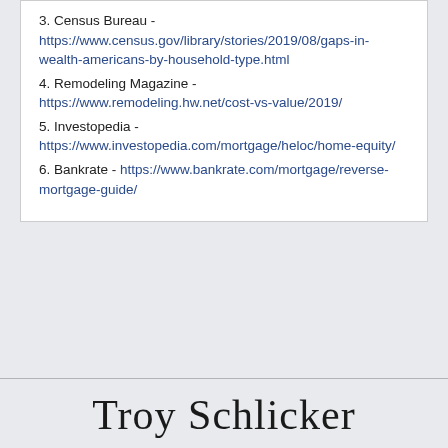3. Census Bureau - https://www.census.gov/library/stories/2019/08/gaps-in-wealth-americans-by-household-type.html
4. Remodeling Magazine - https://www.remodeling.hw.net/cost-vs-value/2019/
5. Investopedia - https://www.investopedia.com/mortgage/heloc/home-equity/
6. Bankrate - https://www.bankrate.com/mortgage/reverse-mortgage-guide/
Troy Schlicker